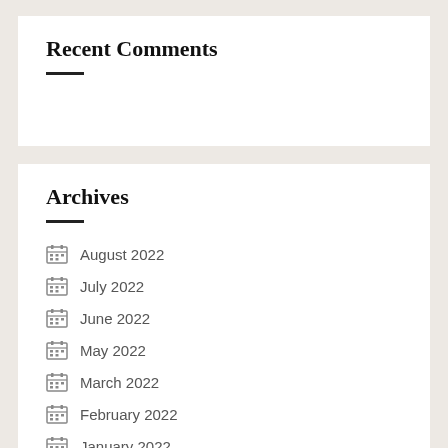Recent Comments
Archives
August 2022
July 2022
June 2022
May 2022
March 2022
February 2022
January 2022